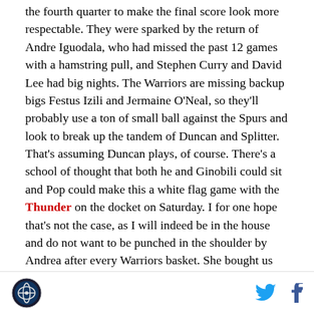the fourth quarter to make the final score look more respectable. They were sparked by the return of Andre Iguodala, who had missed the past 12 games with a hamstring pull, and Stephen Curry and David Lee had big nights. The Warriors are missing backup bigs Festus Izili and Jermaine O'Neal, so they'll probably use a ton of small ball against the Spurs and look to break up the tandem of Duncan and Splitter. That's assuming Duncan plays, of course. There's a school of thought that both he and Ginobili could sit and Pop could make this a white flag game with the Thunder on the docket on Saturday. I for one hope that's not the case, as I will indeed be in the house and do not want to be punched in the shoulder by Andrea after every Warriors basket. She bought us tickets for my
[logo] [twitter] [facebook]